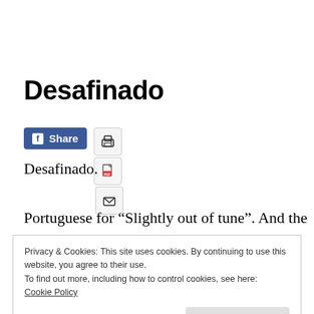Desafinado
[Figure (other): Facebook Share button, Print icon button, PDF download icon button, Email icon button, and text 'Desafinado.']
Portuguese for “Slightly out of tune”. And the
Privacy & Cookies: This site uses cookies. By continuing to use this website, you agree to their use.
To find out more, including how to control cookies, see here:
Cookie Policy
Close and accept